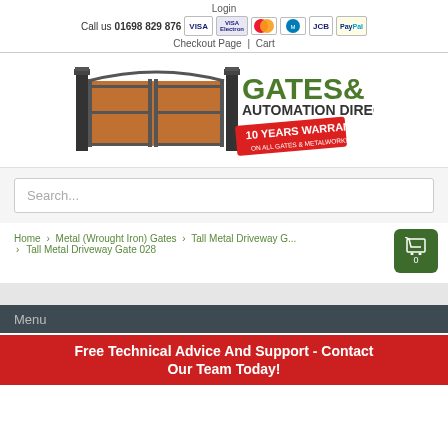Login | Call us 01698 829 876 | Checkout Page | Cart
[Figure (logo): Gates & Automation Direct logo with wrought iron gates image and 10 Years Warranty badge]
Search...
Home > Metal (Wrought Iron) Gates > Tall Metal Driveway Gates > Tall Metal Driveway Gate 028
Menu
Free Technical Advice And Support - Contact Our Team Today!